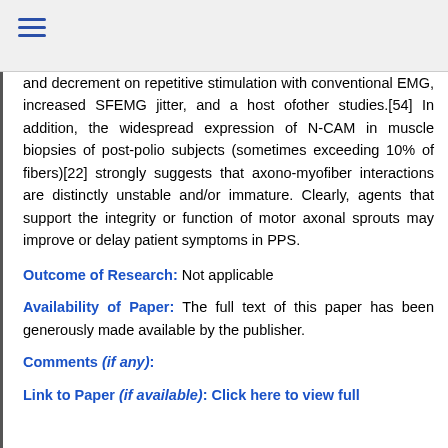≡
and decrement on repetitive stimulation with conventional EMG, increased SFEMG jitter, and a host ofother studies.[54] In addition, the widespread expression of N-CAM in muscle biopsies of post-polio subjects (sometimes exceeding 10% of fibers)[22] strongly suggests that axono-myofiber interactions are distinctly unstable and/or immature. Clearly, agents that support the integrity or function of motor axonal sprouts may improve or delay patient symptoms in PPS.
Outcome of Research: Not applicable
Availability of Paper: The full text of this paper has been generously made available by the publisher.
Comments (if any):
Link to Paper (if available): Click here to view full